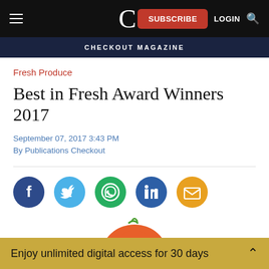C | SUBSCRIBE | LOGIN
CHECKOUT MAGAZINE
Fresh Produce
Best in Fresh Award Winners 2017
September 07, 2017 3:43 PM
By Publications Checkout
[Figure (other): Social sharing icons: Facebook, Twitter, WhatsApp, LinkedIn, Email]
[Figure (illustration): Partial image of fresh produce/fruit basket at bottom of page]
Enjoy unlimited digital access for 30 days